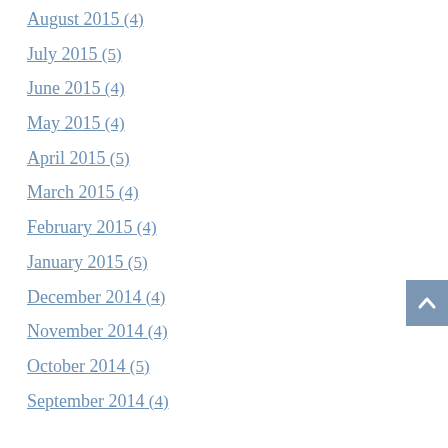August 2015 (4)
July 2015 (5)
June 2015 (4)
May 2015 (4)
April 2015 (5)
March 2015 (4)
February 2015 (4)
January 2015 (5)
December 2014 (4)
November 2014 (4)
October 2014 (5)
September 2014 (4)